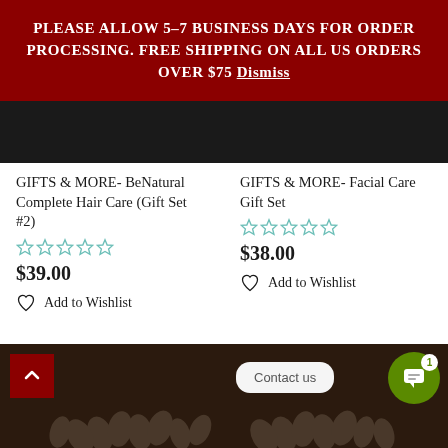PLEASE ALLOW 5-7 BUSINESS DAYS FOR ORDER PROCESSING. FREE SHIPPING ON ALL US ORDERS OVER $75 Dismiss
GIFTS & MORE- BeNatural Complete Hair Care (Gift Set #2)
$39.00
Add to Wishlist
GIFTS & MORE- Facial Care Gift Set
$38.00
Add to Wishlist
[Figure (screenshot): Bottom left dark brown product image with floral pattern and red scroll-to-top button]
[Figure (screenshot): Bottom right dark brown product image with floral pattern, Contact us bubble, and green chat button with badge 1]